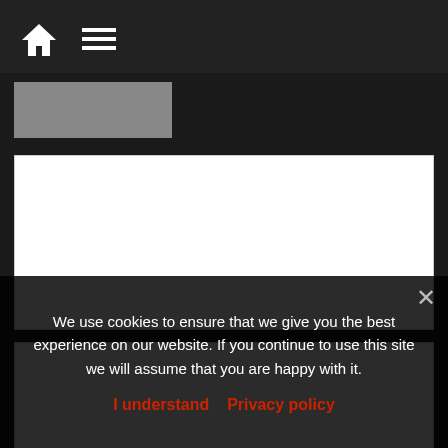Navigation bar with home and menu icons
[Figure (screenshot): Thumbnail placeholder image for article]
[Figure (other): Advertisement block 1, white rectangle]
[Figure (other): Advertisement block 2, white rectangle]
[Figure (photo): Yo-kai Watch article thumbnail image showing city scene with character]
Yo-kai Watch: list of all the passwords, QR Codes
[Figure (photo): Yo-kai Watch Busters article thumbnail image]
Yo-kai Watch Busters: list of passcodes, QR codes
We use cookies to ensure that we give you the best experience on our website. If you continue to use this site we will assume that you are happy with it.
I understand   Privacy policy